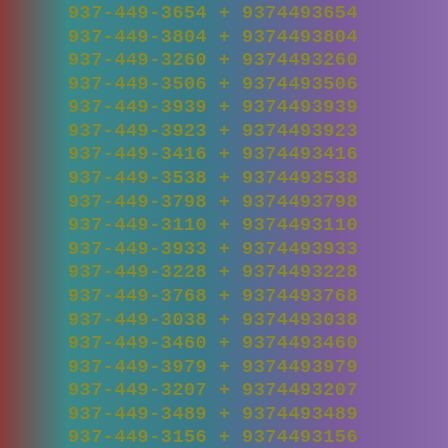937-449-3654 + 9374493654
937-449-3804 + 9374493804
937-449-3260 + 9374493260
937-449-3506 + 9374493506
937-449-3939 + 9374493939
937-449-3923 + 9374493923
937-449-3416 + 9374493416
937-449-3538 + 9374493538
937-449-3798 + 9374493798
937-449-3110 + 9374493110
937-449-3933 + 9374493933
937-449-3228 + 9374493228
937-449-3768 + 9374493768
937-449-3038 + 9374493038
937-449-3460 + 9374493460
937-449-3979 + 9374493979
937-449-3207 + 9374493207
937-449-3489 + 9374493489
937-449-3156 + 9374493156
937-449-3246 + 9374493246
937-449-3668 + 9374493668
937-449-3490 + 9374493490
937-449-3192 + 9374493192